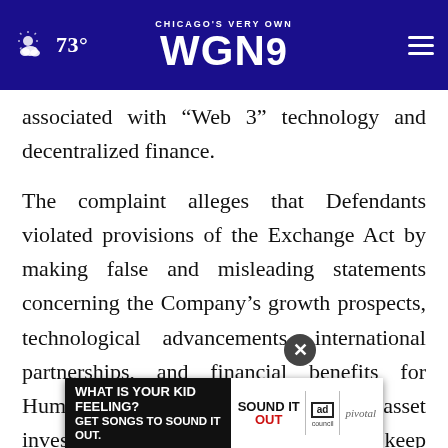CHICAGO'S VERY OWN WGN9 — 73°
associated with “Web 3” technology and decentralized finance.
The complaint alleges that Defendants violated provisions of the Exchange Act by making false and misleading statements concerning the Company’s growth prospects, technological advancements, international partnerships, and financial benefits for Humbl common stock and digital asset investors, as well as using selec[ted strategies to] keep Humbl stock price high so that Company
[Figure (screenshot): Advertisement banner: 'WHAT IS YOUR KID FEELING? GET SONGS TO SOUND IT OUT.' with Ad Council and Pivotal logos]